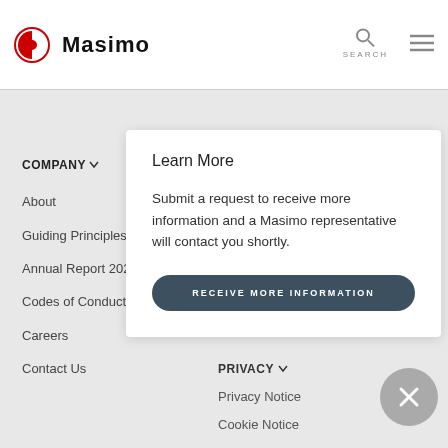Masimo — SEARCH
COMPANY
About
Guiding Principles
Annual Report 202
Codes of Conduct
Careers
Contact Us
Learn More
Submit a request to receive more information and a Masimo representative will contact you shortly.
RECEIVE MORE INFORMATION
PRIVACY
Privacy Notice
Cookie Notice